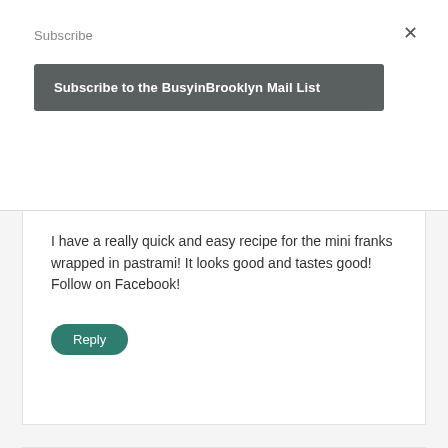Subscribe
×
Subscribe to the BusyinBrooklyn Mail List
I have a really quick and easy recipe for the mini franks wrapped in pastrami! It looks good and tastes good!
Follow on Facebook!
Reply
Esther Marciano
December 4, 2012 at 9:10 pm
sushi gefilte fish sooo chic defrost gefilte fish a divide in 5. press down on nori sheets and put shredded carrots at one end roll up and bake at 350 for half hour slice and serve like sushi with a